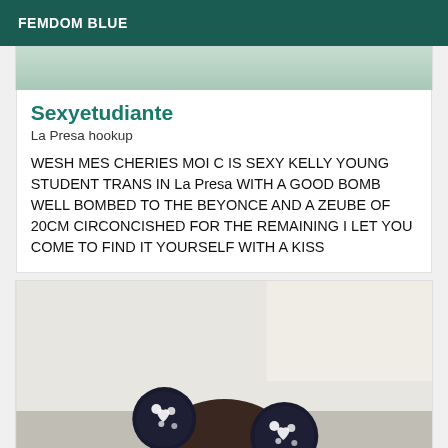FEMDOM BLUE
[Figure (photo): Partial photo strip at top showing green/teal background]
Sexyetudiante
La Presa hookup
WESH MES CHERIES MOI C IS SEXY KELLY YOUNG STUDENT TRANS IN La Presa WITH A GOOD BOMB WELL BOMBED TO THE BEYONCE AND A ZEUBE OF 20CM CIRCONCISHED FOR THE REMAINING I LET YOU COME TO FIND IT YOURSELF WITH A KISS
[Figure (photo): Photo of a person wearing sparkly dark Minnie Mouse ears with heart decorations, taken in a room with light walls]